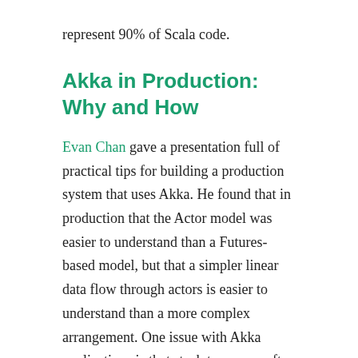represent 90% of Scala code.
Akka in Production: Why and How
Evan Chan gave a presentation full of practical tips for building a production system that uses Akka. He found that in production that the Actor model was easier to understand than a Futures-based model, but that a simpler linear data flow through actors is easier to understand than a more complex arrangement. One issue with Akka applications is that stack traces are often useless. His solution is to stack a trait on an actor that sends message identity information to